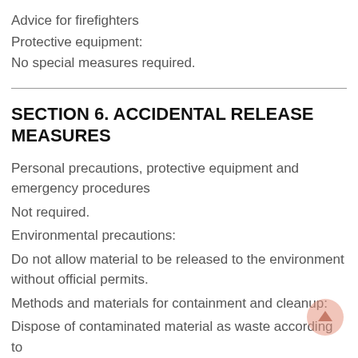Advice for firefighters
Protective equipment:
No special measures required.
SECTION 6. ACCIDENTAL RELEASE MEASURES
Personal precautions, protective equipment and emergency procedures
Not required.
Environmental precautions:
Do not allow material to be released to the environment without official permits.
Methods and materials for containment and cleanup:
Dispose of contaminated material as waste according to